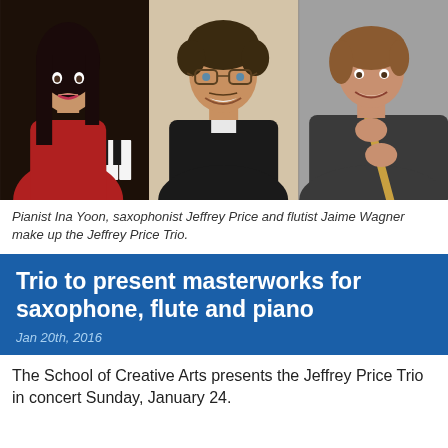[Figure (photo): Three photos side by side: left - a young woman in a red dress near a piano (Pianist Ina Yoon), center - a man with glasses smiling (saxophonist Jeffrey Price), right - a woman holding a flute (flutist Jaime Wagner)]
Pianist Ina Yoon, saxophonist Jeffrey Price and flutist Jaime Wagner make up the Jeffrey Price Trio.
Trio to present masterworks for saxophone, flute and piano
Jan 20th, 2016
The School of Creative Arts presents the Jeffrey Price Trio in concert Sunday, January 24.